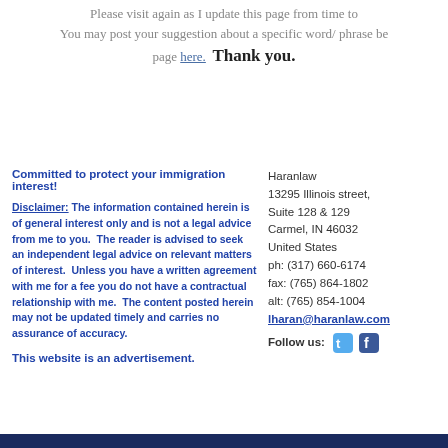You may post your suggestion about a specific word/ phrase be- page here.  Thank you.
Committed to protect your immigration interest!
Disclaimer: The information contained herein is of general interest only and is not a legal advice from me to you. The reader is advised to seek an independent legal advice on relevant matters of interest. Unless you have a written agreement with me for a fee you do not have a contractual relationship with me. The content posted herein may not be updated timely and carries no assurance of accuracy.
This website is an advertisement.
Haranlaw
13295 Illinois street,
Suite 128 & 129
Carmel, IN 46032
United States
ph: (317) 660-6174
fax: (765) 864-1802
alt: (765) 854-1004
lharan@haranlaw.com
Follow us: